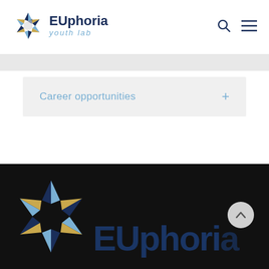[Figure (logo): EUphoria Youth Lab logo — pinwheel geometric icon in navy, gold, and light blue, with 'EUphoria' in bold navy and 'youth lab' in light blue italic text]
Career opportunities
[Figure (logo): EUphoria Youth Lab footer logo — large pinwheel geometric icon and 'EUphoria' text in dark navy on black background]
[Figure (other): Scroll-to-top button — circular light grey button with upward chevron arrow]